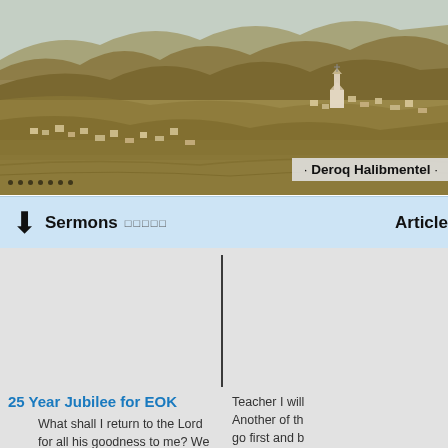[Figure (photo): Aerial or elevated view of a hillside village/town with stone buildings and a church visible on a hilltop, arid landscape with brown terrain]
Deroq Halibmentel
Sermons  □□□□□   Article
[Figure (other): Vertical dark divider line separating two content columns on a gray background]
25 Year Jubilee for EOK
What shall I return to the Lord for all his goodness to me? We thank
Teacher I will Another of th go first and b him. Follow t